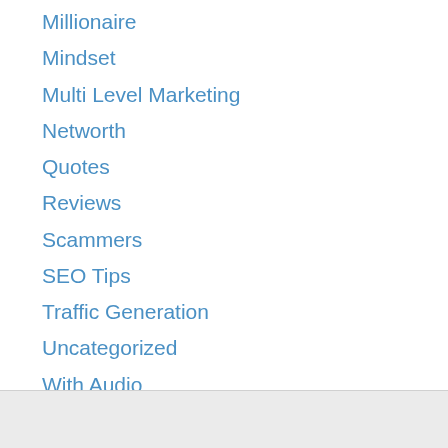Millionaire
Mindset
Multi Level Marketing
Networth
Quotes
Reviews
Scammers
SEO Tips
Traffic Generation
Uncategorized
With Audio
Youtube SEO Tips